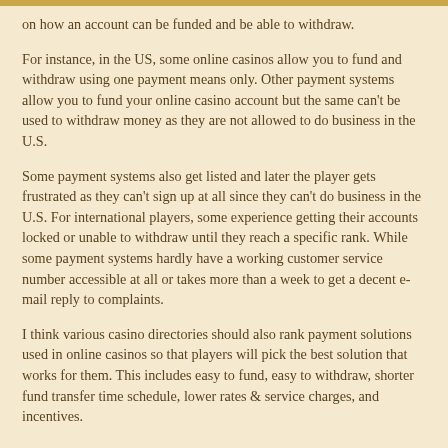on how an account can be funded and be able to withdraw.
For instance, in the US, some online casinos allow you to fund and withdraw using one payment means only. Other payment systems allow you to fund your online casino account but the same can't be used to withdraw money as they are not allowed to do business in the U.S.
Some payment systems also get listed and later the player gets frustrated as they can't sign up at all since they can't do business in the U.S. For international players, some experience getting their accounts locked or unable to withdraw until they reach a specific rank. While some payment systems hardly have a working customer service number accessible at all or takes more than a week to get a decent e-mail reply to complaints.
I think various casino directories should also rank payment solutions used in online casinos so that players will pick the best solution that works for them. This includes easy to fund, easy to withdraw, shorter fund transfer time schedule, lower rates & service charges, and incentives.